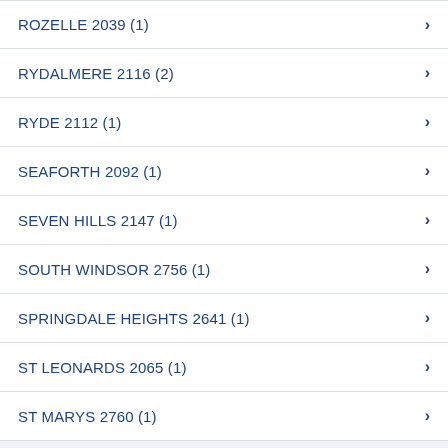ROZELLE  2039 (1)
RYDALMERE  2116 (2)
RYDE  2112 (1)
SEAFORTH  2092 (1)
SEVEN HILLS  2147 (1)
SOUTH WINDSOR  2756 (1)
SPRINGDALE HEIGHTS  2641 (1)
ST LEONARDS  2065 (1)
ST MARYS  2760 (1)